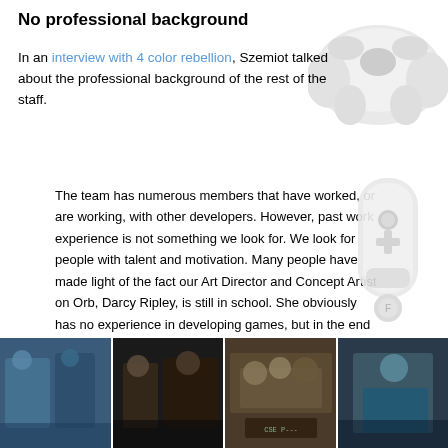No professional background
In an interview with 4 color rebellion, Szemiot talked about the professional background of the rest of the staff.
The team has numerous members that have worked, or are working, with other developers. However, past work experience is not something we look for. We look for people with talent and motivation. Many people have made light of the fact our Art Director and Concept Artist on Orb, Darcy Ripley, is still in school. She obviously has no experience in developing games, but in the end it doesn't matter, as her work speaks for itself.
[Figure (photo): Strip of four photos showing people at what appears to be a gaming event or convention]
[Figure (illustration): White game controller (Xbox-style) in top right corner, decorative background element]
[Figure (illustration): White Wii-style remote controller in bottom right corner, decorative background element]